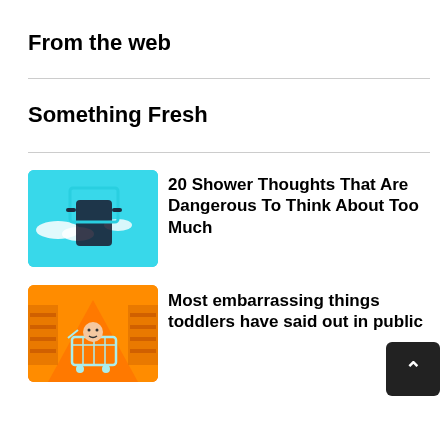From the web
Something Fresh
[Figure (photo): Thumbnail image: person holding a square frame against a teal/cyan sky with clouds]
20 Shower Thoughts That Are Dangerous To Think About Too Much
[Figure (photo): Thumbnail image: toddler in a shopping cart in a colorful store aisle with orange background]
Most embarrassing things toddlers have said out in public